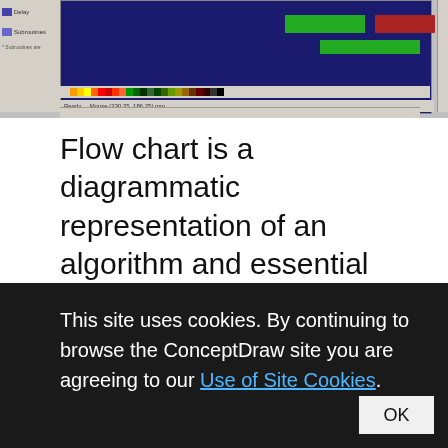[Figure (screenshot): Screenshot of a flowchart design software (ConceptDraw) showing a dark blue canvas with green and red diagram boxes, a toolbar on the left with items like Delay and Subroutines, a color palette strip at the bottom, and a status bar.]
Flow chart is a diagrammatic representation of an algorithm and essential part of planning the system. Flow charts are widely used in technical analysis and programming for easy writing programs and explaining them to others. So, one of the most popular type of flow charts is Technical Flow Chart. Technical Flow Chart can be drawn by
This site uses cookies. By continuing to browse the ConceptDraw site you are agreeing to our Use of Site Cookies.